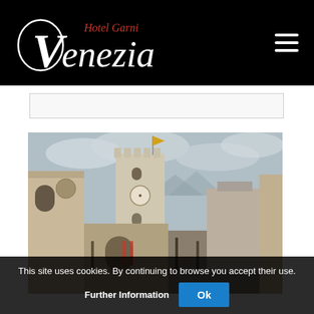[Figure (logo): Hotel Garni Venezia logo in white script on black background]
[Figure (photo): Street view of a historic Italian town square showing a medieval tower (Palazzo Pretorio in Trento), surrounding buildings, and overcast sky. Partially overlaid in lower right by a blue 'Travelling Safely' promotional box.]
This site uses cookies. By continuing to browse you accept their use.  Further Information   Ok